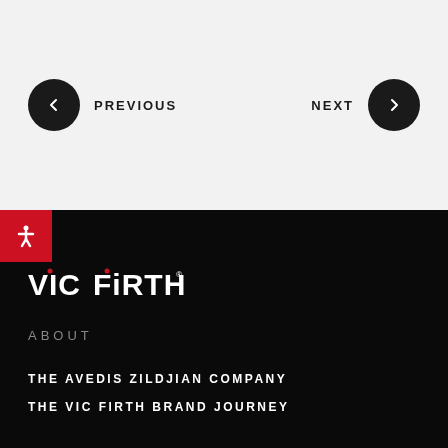[Figure (screenshot): Navigation bar with previous and next buttons on a light gray background]
[Figure (logo): Vic Firth logo in white on black background with red dots]
ABOUT
THE AVEDIS ZILDJIAN COMPANY
THE VIC FIRTH BRAND JOURNEY